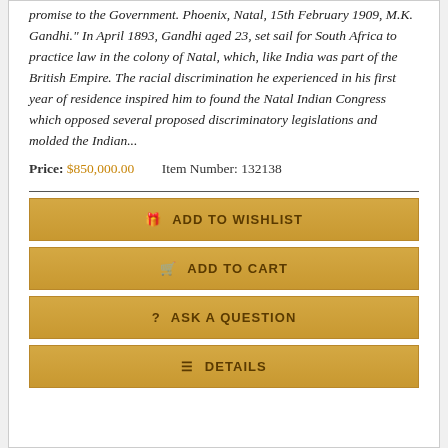promise to the Government. Phoenix, Natal, 15th February 1909, M.K. Gandhi." In April 1893, Gandhi aged 23, set sail for South Africa to practice law in the colony of Natal, which, like India was part of the British Empire. The racial discrimination he experienced in his first year of residence inspired him to found the Natal Indian Congress which opposed several proposed discriminatory legislations and molded the Indian...
Price: $850,000.00    Item Number: 132138
ADD TO WISHLIST
ADD TO CART
ASK A QUESTION
DETAILS